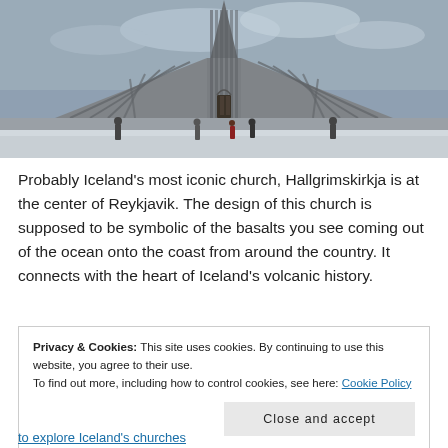[Figure (photo): Wide-angle photo of Hallgrímskirkja church in Reykjavik, Iceland, viewed from below. The modernist concrete church with its tall central tower and stepped side colonnades rises against a cloudy sky. Several people stand at the base near the entrance. Snow is on the ground.]
Probably Iceland's most iconic church, Hallgrimskirkja is at the center of Reykjavik. The design of this church is supposed to be symbolic of the basalts you see coming out of the ocean onto the coast from around the country. It connects with the heart of Iceland's volcanic history.
Privacy & Cookies: This site uses cookies. By continuing to use this website, you agree to their use. To find out more, including how to control cookies, see here: Cookie Policy Close and accept
to explore Iceland's churches